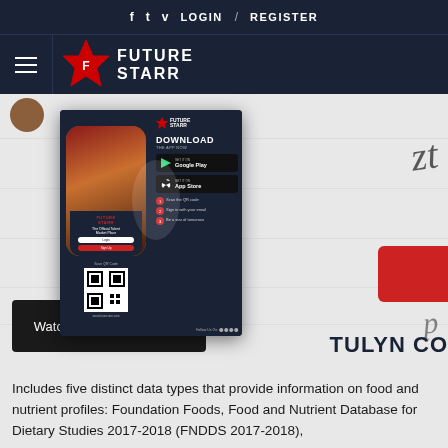f  t  v  LOGIN / REGISTER
[Figure (logo): Future Starr logo with hamburger menu, star icon, and FUTURE STARR wordmark on dark navy background]
[Figure (screenshot): Future Starr app download advertisement popup with phone mockup, Google Play and App Store buttons, QR code, and steps to scan and register]
[Figure (screenshot): YouTube Watch on YouTube button (dark background)]
TULYN CO
Includes five distinct data types that provide information on food and nutrient profiles: Foundation Foods, Food and Nutrient Database for Dietary Studies 2017-2018 (FNDDS 2017-2018),